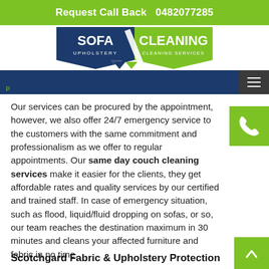Request Call Back   0482077285
[Figure (logo): Sofa Cleaning – Upholstery Cleaning Services logo with navy and green design]
Our services can be procured by the appointment, however, we also offer 24/7 emergency service to the customers with the same commitment and professionalism as we offer to regular appointments. Our same day couch cleaning services make it easier for the clients, they get affordable rates and quality services by our certified and trained staff. In case of emergency situation, such as flood, liquid/fluid dropping on sofas, or so, our team reaches the destination maximum in 30 minutes and cleans your affected furniture and fabric in no time.
Scotchgard Fabric & Upholstery Protection